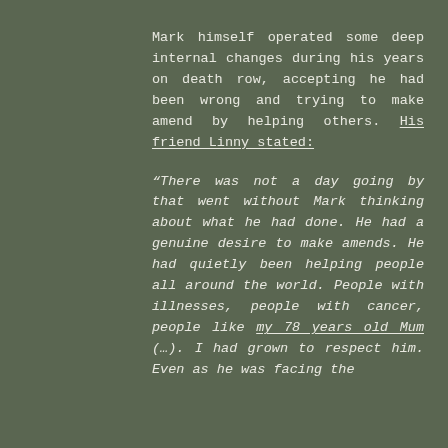Mark himself operated some deep internal changes during his years on death row, accepting he had been wrong and trying to make amend by helping others. His friend Linny stated:
“There was not a day going by that went without Mark thinking about what he had done. He had a genuine desire to make amends. He had quietly been helping people all around the world. People with illnesses, people with cancer, people like my 78 years old Mum (…). I had grown to respect him. Even as he was facing the